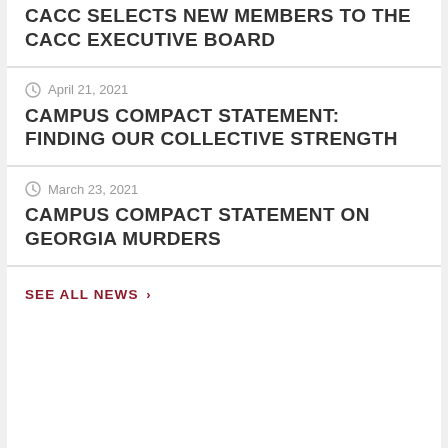CACC SELECTS NEW MEMBERS TO THE CACC EXECUTIVE BOARD
April 21, 2021
CAMPUS COMPACT STATEMENT: FINDING OUR COLLECTIVE STRENGTH
March 23, 2021
CAMPUS COMPACT STATEMENT ON GEORGIA MURDERS
SEE ALL NEWS >